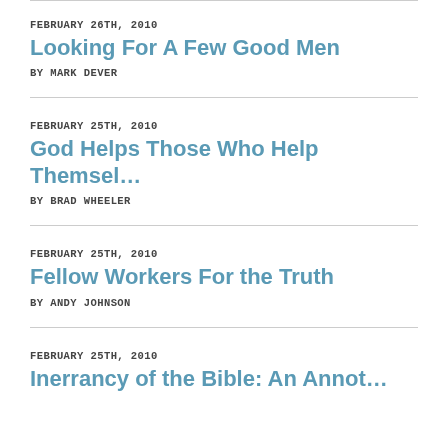FEBRUARY 26TH, 2010
Looking For A Few Good Men
BY MARK DEVER
FEBRUARY 25TH, 2010
God Helps Those Who Help Themsel…
BY BRAD WHEELER
FEBRUARY 25TH, 2010
Fellow Workers For the Truth
BY ANDY JOHNSON
FEBRUARY 25TH, 2010
Inerrancy of the Bible: An Annot…